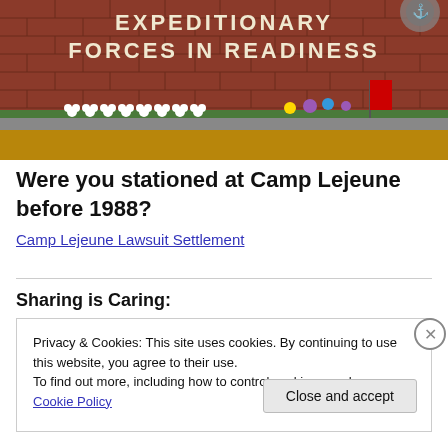[Figure (photo): Brick wall with white lettering 'EXPEDITIONARY FORCES IN READINESS' with white flower arrangements and colorful flags/flowers placed at the base of the wall on a bed of brown mulch and greenery.]
Were you stationed at Camp Lejeune before 1988?
Camp Lejeune Lawsuit Settlement
Sharing is Caring:
Privacy & Cookies: This site uses cookies. By continuing to use this website, you agree to their use.
To find out more, including how to control cookies, see here: Cookie Policy